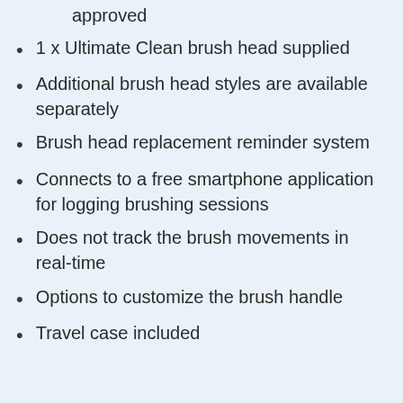approved
1 x Ultimate Clean brush head supplied
Additional brush head styles are available separately
Brush head replacement reminder system
Connects to a free smartphone application for logging brushing sessions
Does not track the brush movements in real-time
Options to customize the brush handle
Travel case included